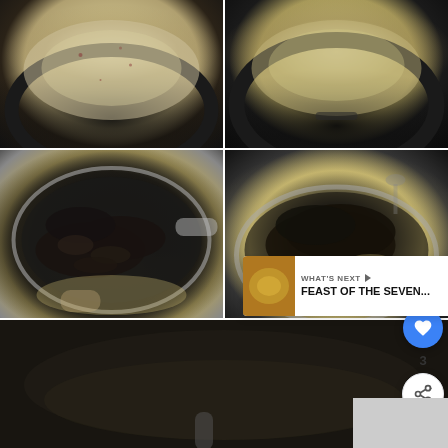[Figure (photo): Top-left: creamy sauce or liquid in a dark non-stick pan, viewed from above]
[Figure (photo): Top-right: creamy grainy sauce in a dark pan, viewed from above]
[Figure (photo): Middle-left: mussels being poured from a metal bowl into a pan with sauce]
[Figure (photo): Middle-right: cooked mussels in a silver/stainless steel pan with creamy sauce, with share and like UI overlay showing count of 3]
[Figure (photo): Bottom: close-up of a dark pan on a stove, partially visible]
WHAT'S NEXT → FEAST OF THE SEVEN...